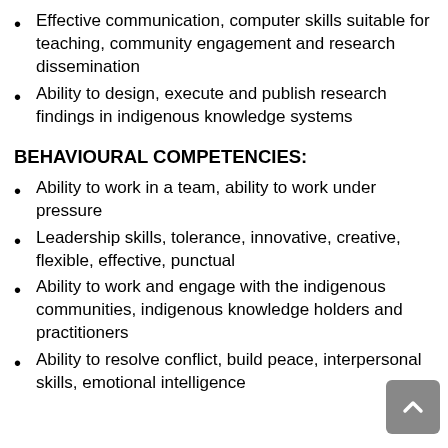Effective communication, computer skills suitable for teaching, community engagement and research dissemination
Ability to design, execute and publish research findings in indigenous knowledge systems
BEHAVIOURAL COMPETENCIES:
Ability to work in a team, ability to work under pressure
Leadership skills, tolerance, innovative, creative, flexible, effective, punctual
Ability to work and engage with the indigenous communities, indigenous knowledge holders and practitioners
Ability to resolve conflict, build peace, interpersonal skills, emotional intelligence